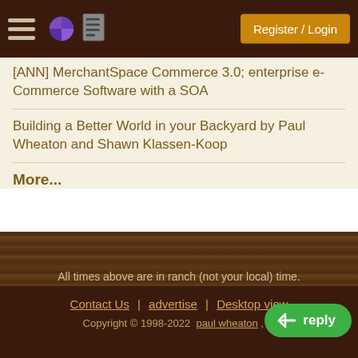Register / Login
[ANN] MerchantSpace Commerce 3.0; enterprise e-Commerce Software with a SOA
Building a Better World in your Backyard by Paul Wheaton and Shawn Klassen-Koop
More...
All times above are in ranch (not your local) time.
The current ranch time is
Aug 30, 2022 10:46:05.
Contact Us | advertise | Desktop view
Copyright © 1998-2022  paul wheaton , m